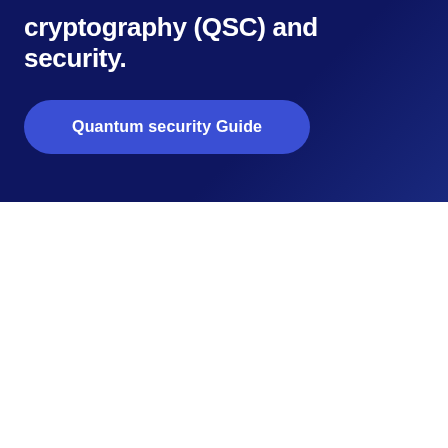cryptography (QSC) and security.
Quantum security Guide
[Figure (illustration): Dark navy background section with decorative overlay, containing a title and a blue rounded-rectangle button labeled 'Quantum security Guide']
[Figure (illustration): Light blue card with a dark navy circle containing a blue shield icon with an orange checkmark. Below is label text 'PROTECT DATA WITH LONG-LASTING VALUE' and bold body text about preventing encryption being broken by quantum computers.]
PROTECT DATA WITH LONG-LASTING VALUE
Prevent the encryption of captured data being broken when quantum computers are efficient enough to do so.